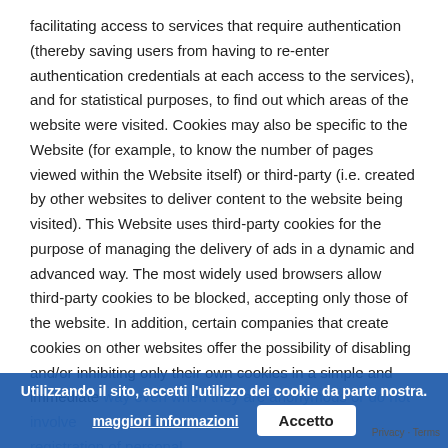facilitating access to services that require authentication (thereby saving users from having to re-enter authentication credentials at each access to the services), and for statistical purposes, to find out which areas of the website were visited. Cookies may also be specific to the Website (for example, to know the number of pages viewed within the Website itself) or third-party (i.e. created by other websites to deliver content to the website being visited). This Website uses third-party cookies for the purpose of managing the delivery of ads in a dynamic and advanced way. The most widely used browsers allow third-party cookies to be blocked, accepting only those of the website. In addition, certain companies that create cookies on other websites offer the possibility of disabling and/or inhibiting only their own cookies in a simple and immediate way even when they are anonymous or do not involve registration of personal identifica... addre The website www.ramcutting.com and its administrator no control over the cookies used by third parties. The Ads
[Figure (other): Cookie consent banner with blue background. Text: 'Utilizzando il sito, accetti l'utilizzo dei cookie da parte nostra.' with 'maggiori informazioni' link and 'Accetto' button.]